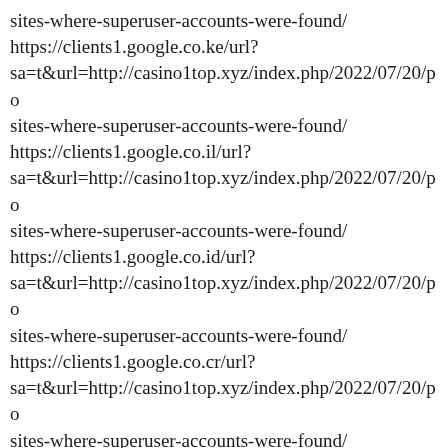sites-where-superuser-accounts-were-found/
https://clients1.google.co.ke/url?
sa=t&url=http://casino1top.xyz/index.php/2022/07/20/po
sites-where-superuser-accounts-were-found/
https://clients1.google.co.il/url?
sa=t&url=http://casino1top.xyz/index.php/2022/07/20/po
sites-where-superuser-accounts-were-found/
https://clients1.google.co.id/url?
sa=t&url=http://casino1top.xyz/index.php/2022/07/20/po
sites-where-superuser-accounts-were-found/
https://clients1.google.co.cr/url?
sa=t&url=http://casino1top.xyz/index.php/2022/07/20/po
sites-where-superuser-accounts-were-found/
https://clients1.google.co.ck/url?
sa=t&url=http://casino1top.xyz/index.php/2022/07/20/po
sites-where-superuser-accounts-were-found/
https://clients1.google.co.bw/url?